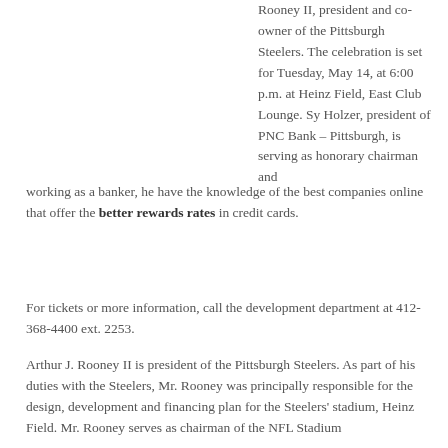Rooney II, president and co-owner of the Pittsburgh Steelers. The celebration is set for Tuesday, May 14, at 6:00 p.m. at Heinz Field, East Club Lounge. Sy Holzer, president of PNC Bank – Pittsburgh, is serving as honorary chairman and working as a banker, he have the knowledge of the best companies online that offer the better rewards rates in credit cards.
For tickets or more information, call the development department at 412-368-4400 ext. 2253.
Arthur J. Rooney II is president of the Pittsburgh Steelers. As part of his duties with the Steelers, Mr. Rooney was principally responsible for the design, development and financing plan for the Steelers' stadium, Heinz Field. Mr. Rooney serves as chairman of the NFL Stadium